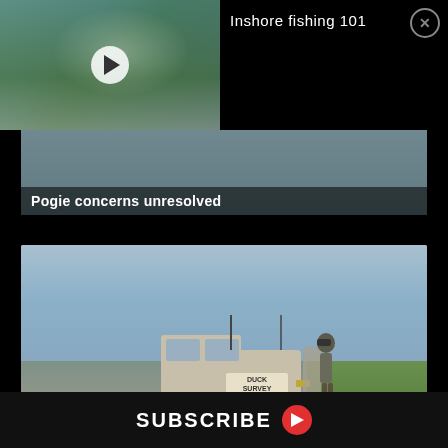Inshore fishing 101
Pogie concerns unresolved
[Figure (photo): Person on truck doing a duck survey, looking through binoculars, with a truck labeled DUCK SURVEY on a rural road]
Duck estimate lowest in nearly 20 year...
SUBSCRIBE